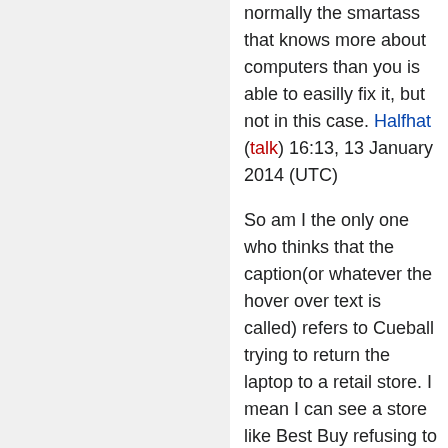normally the smartass that knows more about computers than you is able to easilly fix it, but not in this case. Halfhat (talk) 16:13, 13 January 2014 (UTC)
So am I the only one who thinks that the caption(or whatever the hover over text is called) refers to Cueball trying to return the laptop to a retail store. I mean I can see a store like Best Buy refusing to take back a laptop because a customer insists that there is a ghost in it. 108.162.216.83 18:25, 13 January 2014 (UTC)
I agree. but until more people notice it, lets leave